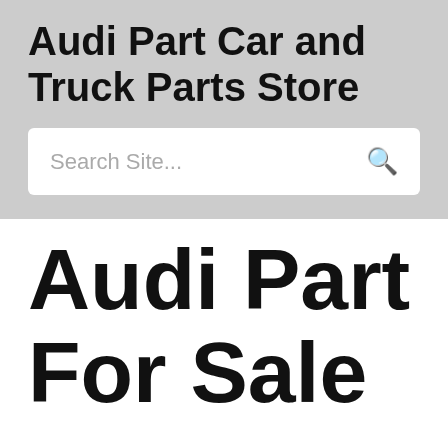Audi Part Car and Truck Parts Store
Search Site...
Audi Part For Sale